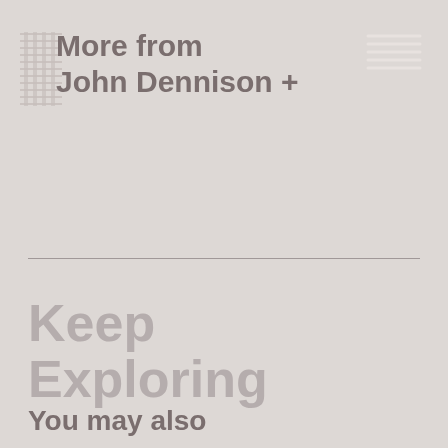[Figure (logo): Striped diagonal logo icon in light gray/white lines on the left side of the header]
More from John Dennison +
[Figure (other): Hamburger menu icon with horizontal white lines on the top right]
Keep Exploring
You may also